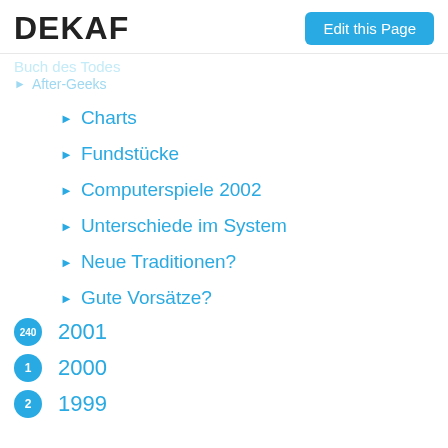DEKAF
Edit this Page
Buch des Todes
After-Geeks
Charts
Fundstücke
Computerspiele 2002
Unterschiede im System
Neue Traditionen?
Gute Vorsätze?
240  2001
1  2000
2  1999
Syndicate